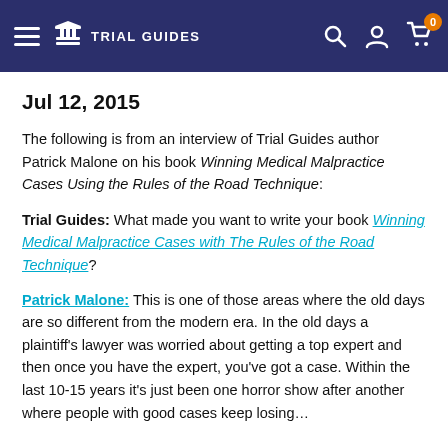Trial Guides — navigation bar with logo, search, account, and cart (badge: 0)
Jul 12, 2015
The following is from an interview of Trial Guides author Patrick Malone on his book Winning Medical Malpractice Cases Using the Rules of the Road Technique:
Trial Guides: What made you want to write your book Winning Medical Malpractice Cases with The Rules of the Road Technique?
Patrick Malone: This is one of those areas where the old days are so different from the modern era. In the old days a plaintiff's lawyer was worried about getting a top expert and then once you have the expert, you've got a case. Within the last 10-15 years it's just been one horror show after another where people with good cases keep losing…